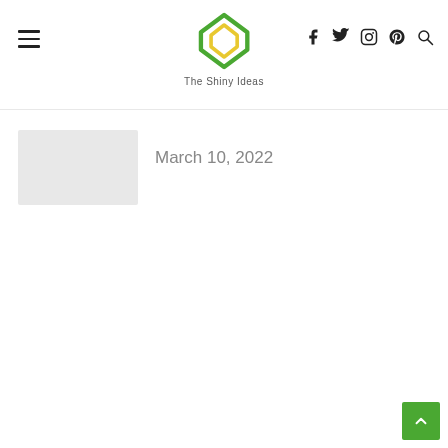The Shiny Ideas
March 10, 2022